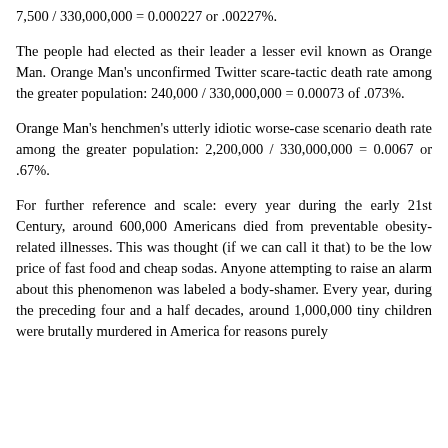7,500 / 330,000,000 = 0.000227 or .00227%.
The people had elected as their leader a lesser evil known as Orange Man. Orange Man's unconfirmed Twitter scare-tactic death rate among the greater population: 240,000 / 330,000,000 = 0.00073 of .073%.
Orange Man's henchmen's utterly idiotic worse-case scenario death rate among the greater population: 2,200,000 / 330,000,000 = 0.0067 or .67%.
For further reference and scale: every year during the early 21st Century, around 600,000 Americans died from preventable obesity-related illnesses. This was thought (if we can call it that) to be the low price of fast food and cheap sodas. Anyone attempting to raise an alarm about this phenomenon was labeled a body-shamer. Every year, during the preceding four and a half decades, around 1,000,000 tiny children were brutally murdered in America for reasons purely